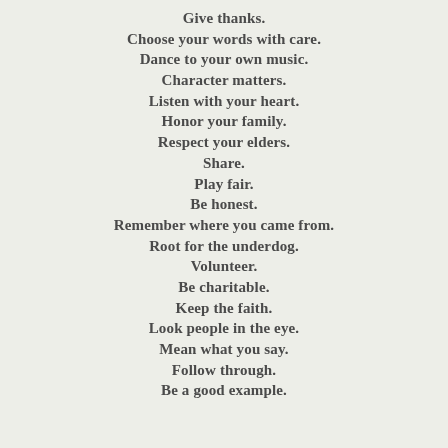Give thanks.
Choose your words with care.
Dance to your own music.
Character matters.
Listen with your heart.
Honor your family.
Respect your elders.
Share.
Play fair.
Be honest.
Remember where you came from.
Root for the underdog.
Volunteer.
Be charitable.
Keep the faith.
Look people in the eye.
Mean what you say.
Follow through.
Be a good example.